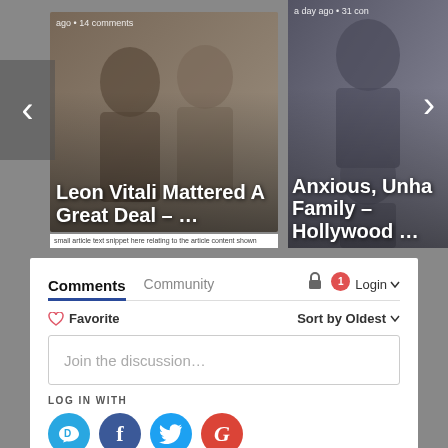[Figure (screenshot): Carousel showing two article cards. Left card: 'Leon Vitali Mattered A Great Deal – …' with '14 comments'. Right card: 'Anxious, Unha Family – Hollywood …' with '31 con'. Navigation arrows on both sides.]
Leon Vitali Mattered A Great Deal – …
Anxious, Unha Family – Hollywood …
[Figure (screenshot): Disqus comment widget with Comments and Community tabs, Login button, Favorite and Sort by Oldest controls, 'Join the discussion…' input field, LOG IN WITH label, and social login icons for Disqus, Facebook, Twitter, and Google.]
Comments
Community
Login
Favorite
Sort by Oldest
Join the discussion…
LOG IN WITH